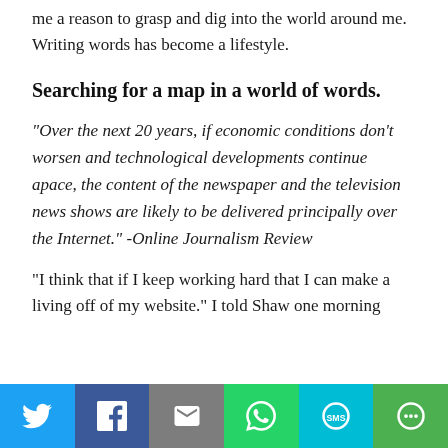me a reason to grasp and dig into the world around me. Writing words has become a lifestyle.
Searching for a map in a world of words.
“Over the next 20 years, if economic conditions don’t worsen and technological developments continue apace, the content of the newspaper and the television news shows are likely to be delivered principally over the Internet.” -Online Journalism Review
“I think that if I keep working hard that I can make a living off of my website.” I told Shaw one morning